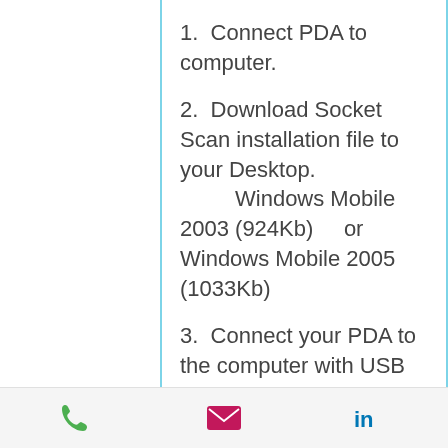1.  Connect PDA to computer.
2.  Download Socket Scan installation file to your Desktop.
        Windows Mobile 2003 (924Kb)    or Windows Mobile 2005 (1033Kb)
3.  Connect your PDA to the computer with USB
phone | email | linkedin